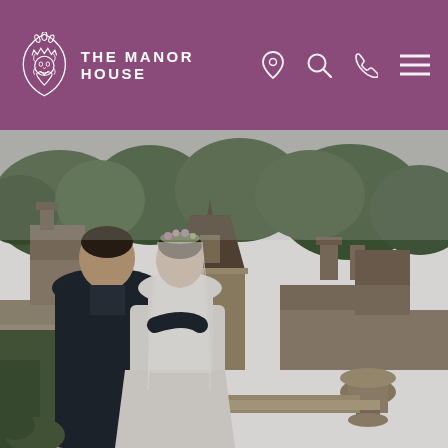THE MANOR HOUSE
[Figure (photo): A bride and groom seen from behind, standing on a terrace overlooking the stone rooftops and turrets of The Manor House, with lush green trees in the background. The groom wears a dark suit and has his arm around the bride who wears a white gown and veil with a floral crown.]